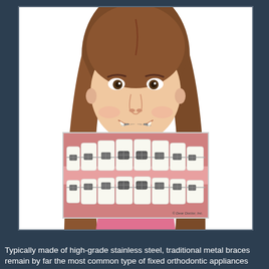[Figure (photo): Photo of a smiling young girl with long brown hair wearing metal dental braces on her teeth, overlaid with an inset clinical illustration of teeth with traditional metal braces on both upper and lower arches. The inset is labeled '© Dear Doctor, Inc.']
Typically made of high-grade stainless steel, traditional metal braces remain by far the most common type of fixed orthodontic appliances